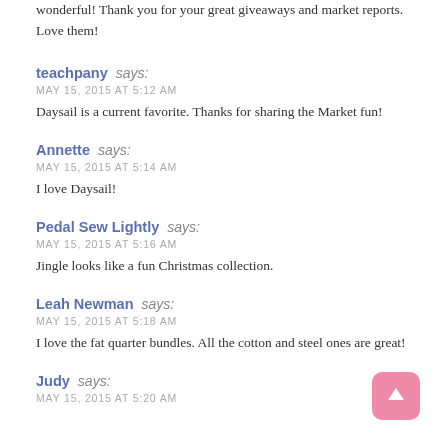wonderful! Thank you for your great giveaways and market reports. Love them!
teachpany says:
MAY 15, 2015 AT 5:12 AM
Daysail is a current favorite. Thanks for sharing the Market fun!
Annette says:
MAY 15, 2015 AT 5:14 AM
I love Daysail!
Pedal Sew Lightly says:
MAY 15, 2015 AT 5:16 AM
Jingle looks like a fun Christmas collection.
Leah Newman says:
MAY 15, 2015 AT 5:18 AM
I love the fat quarter bundles. All the cotton and steel ones are great!
Judy says:
MAY 15, 2015 AT 5:20 AM